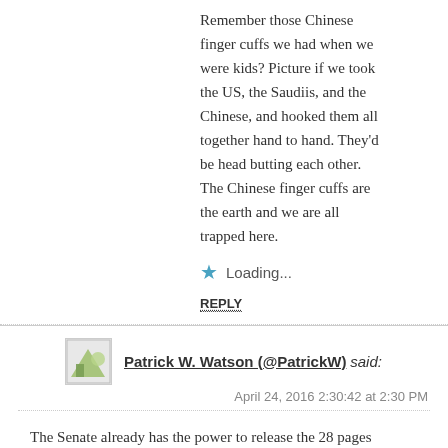Remember those Chinese finger cuffs we had when we were kids? Picture if we took the US, the Saudiis, and the Chinese, and hooked them all together hand to hand. They’d be head butting each other. The Chinese finger cuffs are the earth and we are all trapped here.
Loading...
REPLY
Patrick W. Watson (@PatrickW) said:
April 24, 2016 2:30:42 at 2:30 PM
The Senate already has the power to release the 28 pages whether Obama likes it or not. The 1976 intelligence community reform gave either side of Congress, independent of each other and of the president, power to declassify any documents in its possession. All it takes is simple majority vote of the intelligence committee and the entire Senate.
Alternately, Sen. Graham could simply go to the floor of the Senate and tell us what the documents say. He would be immune from prosecution